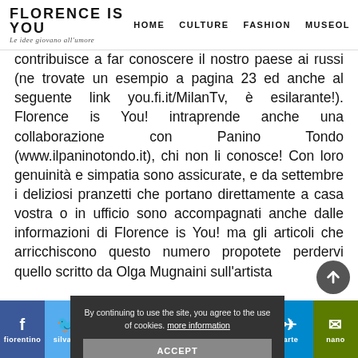FLORENCE IS YOU — HOME  CULTURE  FASHION  MUSEOL
contribuisce a far conoscere il nostro paese ai russi (ne trovate un esempio a pagina 23 ed anche al seguente link you.fi.it/MilanTv, è esilarante!). Florence is You! intraprende anche una collaborazione con Panino Tondo (www.ilpaninotondo.it), chi non li conosce! Con loro genuinità e simpatia sono assicurate, e da settembre i deliziosi pranzetti che portano direttamente a casa vostra o in ufficio sono accompagnati anche dalle informazioni di Florence is You! ma gli articoli che arricchiscono questo numero pro[…] potete perdervi quello scritto da Olga Mugnaini sull'artista fiorentino Silvano Campeggi, in arte Nano
f  twitter  pinterest  in  reddit  mix  telegram  email